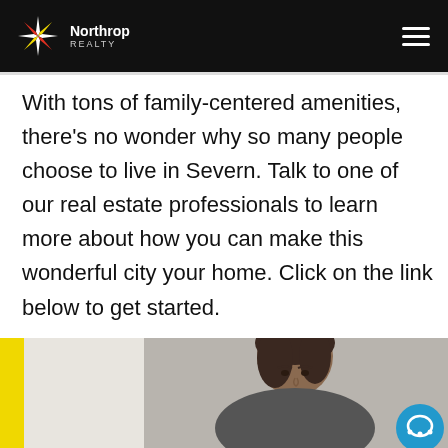Northrop Realty
With tons of family-centered amenities, there's no wonder why so many people choose to live in Severn. Talk to one of our real estate professionals to learn more about how you can make this wonderful city your home. Click on the link below to get started.
[Figure (photo): Woman with dark hair in a bright indoor setting, with a yellow vertical bar on the left edge of the image and a blue chat button in the bottom right corner.]